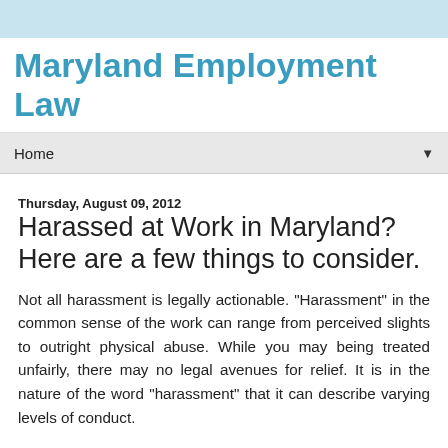Maryland Employment Law
Harassed at Work in Maryland? Here are a few things to consider.
Thursday, August 09, 2012
Not all harassment is legally actionable.  "Harassment" in the common sense of the work can range from perceived slights to outright physical abuse.  While you may being treated unfairly, there may no legal avenues for relief.  It is in the nature of the word "harassment" that it can describe varying levels of conduct.
But some workplace harassment is actionable.  You should contact an attorney for help when you believe you are being subject to any sort of conduct that approaches anywhere